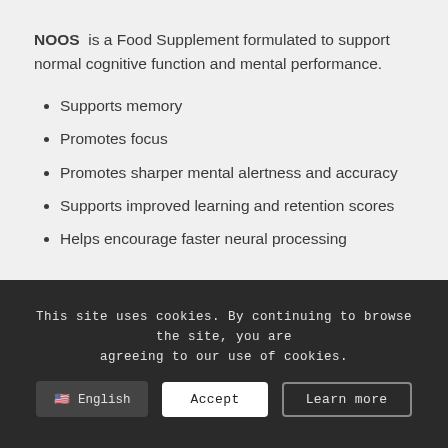NOOS is a Food Supplement formulated to support normal cognitive function and mental performance.
Supports memory
Promotes focus
Promotes sharper mental alertness and accuracy
Supports improved learning and retention scores
Helps encourage faster neural processing speeds
This site uses cookies. By continuing to browse the site, you are agreeing to our use of cookies.